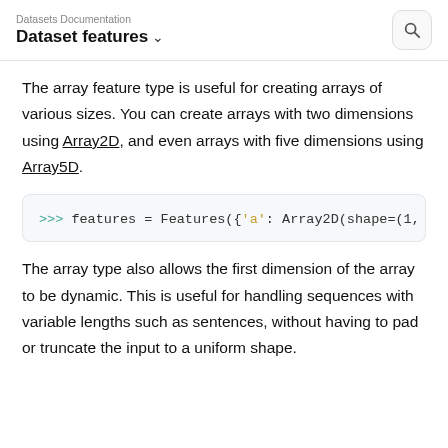Datasets Documentation / Dataset features
The array feature type is useful for creating arrays of various sizes. You can create arrays with two dimensions using Array2D, and even arrays with five dimensions using Array5D.
>>> features = Features({'a': Array2D(shape=(1, 3),
The array type also allows the first dimension of the array to be dynamic. This is useful for handling sequences with variable lengths such as sentences, without having to pad or truncate the input to a uniform shape.